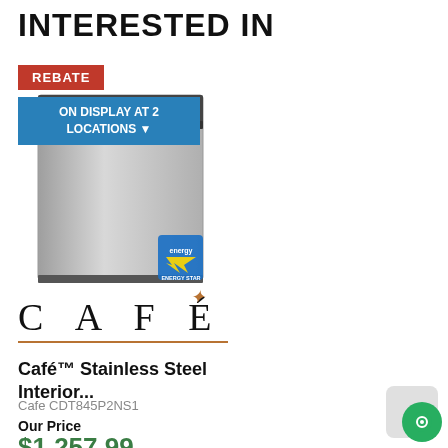INTERESTED IN
[Figure (photo): Café stainless steel dishwasher product image with REBATE badge, ON DISPLAY AT 2 LOCATIONS badge, and ENERGY STAR logo]
[Figure (logo): CAFÉ brand logo in large serif letters with a copper/brown accent mark over the E and a copper underline]
Café™ Stainless Steel Interior...
Cafe CDT845P2NS1
Our Price
$1,257.99